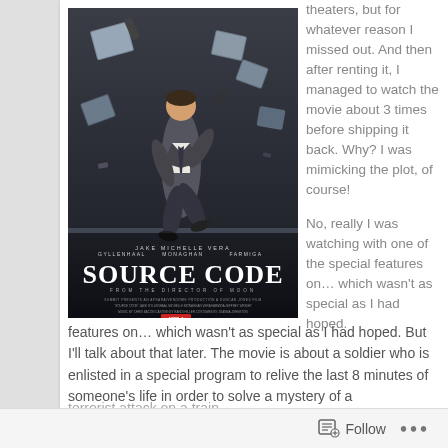[Figure (photo): Movie poster for 'Source Code' featuring Jake Gyllenhaal running in a suit with debris flying around him. Cast names: JAKE GYLLENHAAL, MICHELLE MONAGHAN, VERA FARMIGA. Tagline: FROM THE DIRECTOR OF MOON. APRIL 1.]
theaters, but for whatever reason I missed out. And then after renting it, I managed to watch the movie about 3 times before shipping it back. Why? I was mimicking the plot, of course!

No, really I was watching with one of the special features on… which wasn't as special as I had hoped. But I'll talk about that later. The movie is about a soldier who is enlisted in a special program to relive the last 8 minutes of someone's life in order to solve a mystery of a terrorist attack on a train.
Follow ···